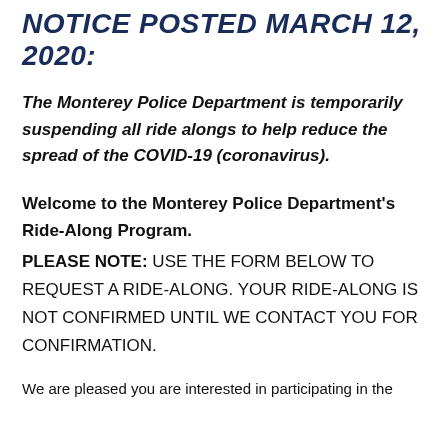NOTICE POSTED MARCH 12, 2020:
The Monterey Police Department is temporarily suspending all ride alongs to help reduce the spread of the COVID-19 (coronavirus).
Welcome to the Monterey Police Department's Ride-Along Program.
PLEASE NOTE: USE THE FORM BELOW TO REQUEST A RIDE-ALONG. YOUR RIDE-ALONG IS NOT CONFIRMED UNTIL WE CONTACT YOU FOR CONFIRMATION.
We are pleased you are interested in participating in the